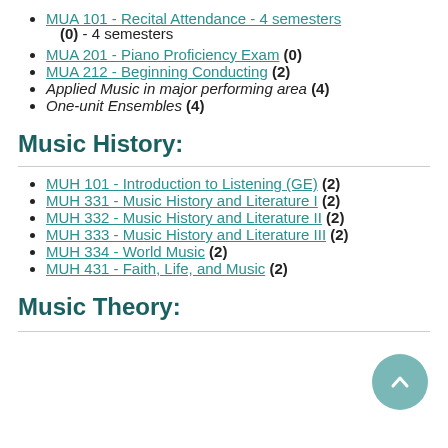MUA 101 - Recital Attendance - 4 semesters (0) - 4 semesters
MUA 201 - Piano Proficiency Exam (0)
MUA 212 - Beginning Conducting (2)
Applied Music in major performing area (4)
One-unit Ensembles (4)
Music History:
MUH 101 - Introduction to Listening (GE) (2)
MUH 331 - Music History and Literature I (2)
MUH 332 - Music History and Literature II (2)
MUH 333 - Music History and Literature III (2)
MUH 334 - World Music (2)
MUH 431 - Faith, Life, and Music (2)
Music Theory: